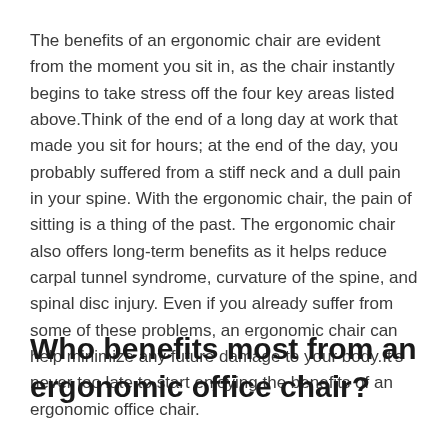The benefits of an ergonomic chair are evident from the moment you sit in, as the chair instantly begins to take stress off the four key areas listed above.Think of the end of a long day at work that made you sit for hours; at the end of the day, you probably suffered from a stiff neck and a dull pain in your spine. With the ergonomic chair, the pain of sitting is a thing of the past. The ergonomic chair also offers long-term benefits as it helps reduce carpal tunnel syndrome, curvature of the spine, and spinal disc injury. Even if you already suffer from some of these problems, an ergonomic chair can help minimize any future damage to your body.It's never too late to start enjoying the benefits of an ergonomic office chair.
Who benefits most from an ergonomic office chair?